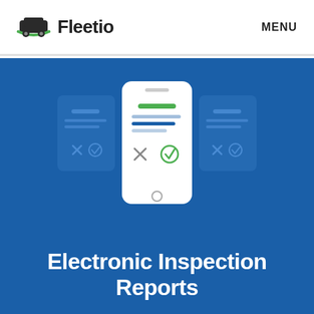Fleetio   MENU
[Figure (illustration): Three mobile phone / card screens on a blue background showing inspection report UI. The center phone is white/foreground showing a green checkmark and X. The two flanking cards are blue/muted showing X and checkmark icons.]
Electronic Inspection Reports